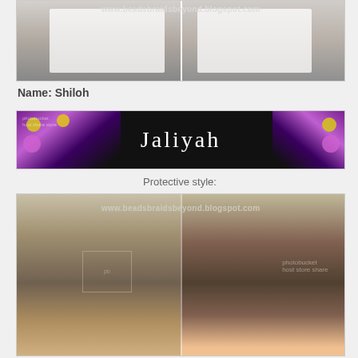[Figure (photo): Side-by-side before/after photos of a person in a white shirt, with watermark www.beadsbraidsbeyond.blogspot.com]
Name: Shiloh
[Figure (illustration): Black banner with floral design and name 'Jaliyah' in white text, Photobucket watermark]
Protective style:
[Figure (photo): Side-by-side photos of a child's hair with protective braiding style, watermark www.beadsbraidsbeyond.blogspot.com, Photobucket logo overlay]